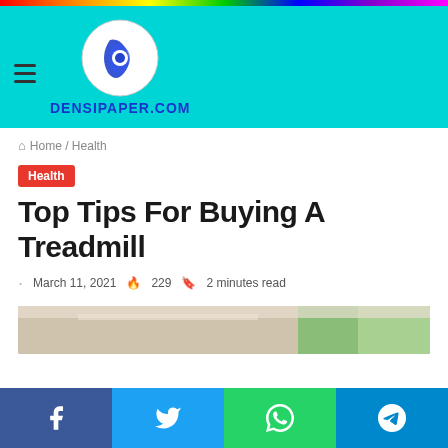DENSIPAPER.COM
Home / Health
Health
Top Tips For Buying A Treadmill
March 11, 2021  229  2 minutes read
[Figure (photo): Interior room photo with window and greenery visible]
Facebook | Twitter | WhatsApp | Telegram